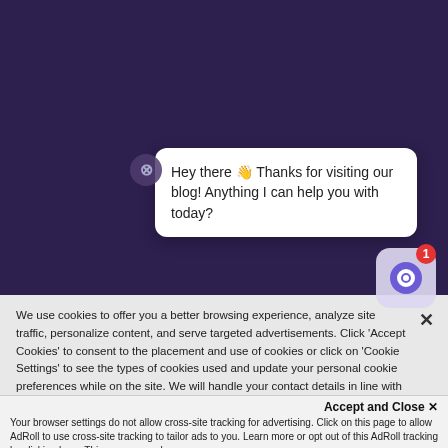[Figure (screenshot): Dark purple website header background with partial blog post title text visible]
Hey there 👋 Thanks for visiting our blog! Anything I can help you with today?
Anno... Navigator and Outreach Texting
We use cookies to offer you a better browsing experience, analyze site traffic, personalize content, and serve targeted advertisements. Click 'Accept Cookies' to consent to the placement and use of cookies or click on 'Cookie Settings' to see the types of cookies used and update your personal cookie preferences while on the site. We will handle your contact details in line with our Privacy Policy.
Accept and Close ✕
Your browser settings do not allow cross-site tracking for advertising. Click on this page to allow AdRoll to use cross-site tracking to tailor ads to you. Learn more or opt out of this AdRoll tracking by clicking here. This message only appears once.